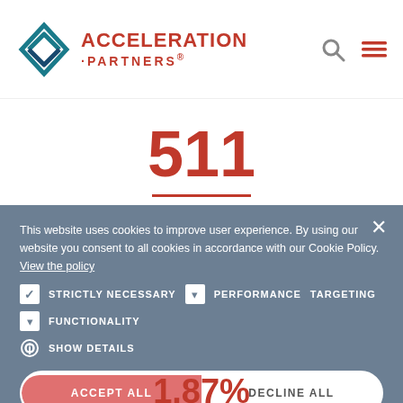[Figure (logo): Acceleration Partners logo with teal diamond/chevron icon and red text 'ACCELERATION PARTNERS']
511
Influencer applications on average, with an average of 4.77 posts created across blogs, Instagram, Facebook, Pinterest, and Twitter.
This website uses cookies to improve user experience. By using our website you consent to all cookies in accordance with our Cookie Policy. View the policy
STRICTLY NECESSARY   PERFORMANCE   TARGETING
FUNCTIONALITY
SHOW DETAILS
1.87%
ACCEPT ALL   DECLINE ALL